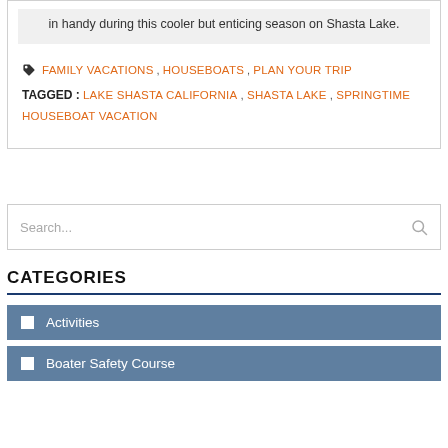in handy during this cooler but enticing season on Shasta Lake.
FAMILY VACATIONS , HOUSEBOATS , PLAN YOUR TRIP
TAGGED : LAKE SHASTA CALIFORNIA , SHASTA LAKE , SPRINGTIME HOUSEBOAT VACATION
Search...
CATEGORIES
Activities
Boater Safety Course